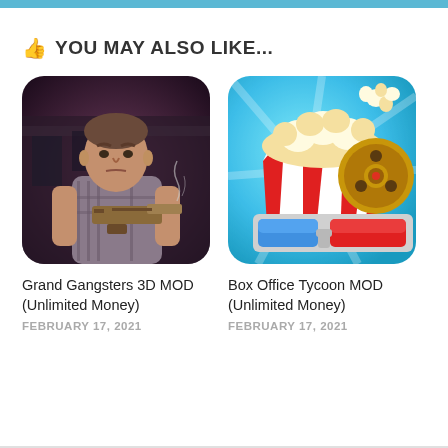👍 YOU MAY ALSO LIKE...
[Figure (illustration): Grand Gangsters 3D MOD app icon: animated character holding a gun in a dark urban setting]
Grand Gangsters 3D MOD (Unlimited Money)
FEBRUARY 17, 2021
[Figure (illustration): Box Office Tycoon MOD app icon: cartoon popcorn box, film reel, and 3D glasses on a bright blue background]
Box Office Tycoon MOD (Unlimited Money)
FEBRUARY 17, 2021